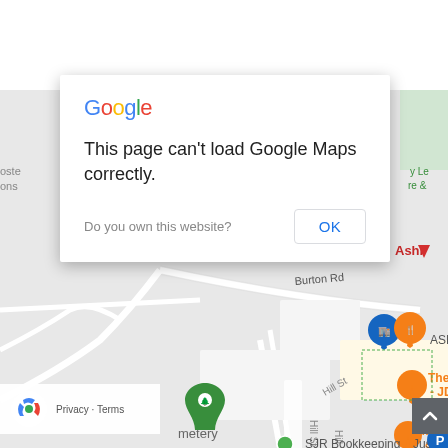[Figure (screenshot): Google Maps screenshot showing a street map of Ashby-De-La-Zouch area with roads, including Burton Rd and Hill St, and map pins for Co-op Food, ASK Italian, The Shoulder of Mutton JD Wetherspoon, The Vine Restaurant & Cocktail Bar, SJR Bookkeeping, and JustPark. The map is partially obscured by a white dialog box.]
Google
This page can't load Google Maps correctly.
Do you own this website?
OK
Privacy · Terms